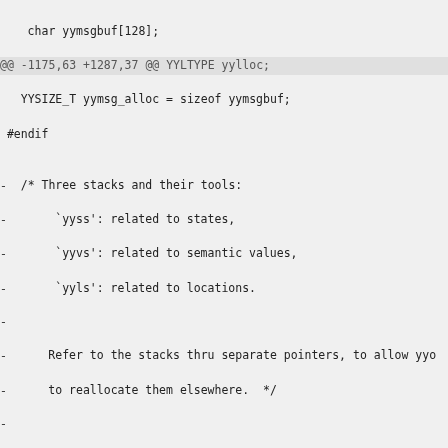char yymsgbuf[128];
@@ -1175,63 +1287,37 @@ YYLTYPE yylloc;
   YYSIZE_T yymsg_alloc = sizeof yymsgbuf;
 #endif

-  /* Three stacks and their tools:
-       `yyss': related to states,
-       `yyvs': related to semantic values,
-       `yyls': related to locations.
-
-      Refer to the stacks thru separate pointers, to allow yyo
-      to reallocate them elsewhere.  */
-
-  /* The state stack.  */
-  yytype_int16 yyssa[YYINITDEPTH];
-  yytype_int16 *yyss = yyssa;
-  yytype_int16 *yyssp;
-
-  /* The semantic value stack.  */
-  YYSTYPE yyvsa[YYINITDEPTH];
-  YYSTYPE *yyvs = yyvsa;
-  YYSTYPE *yyvsp;
-
-
-  /* The location stack.  */
-  YYLTYPE yylsa[YYINITDEPTH];